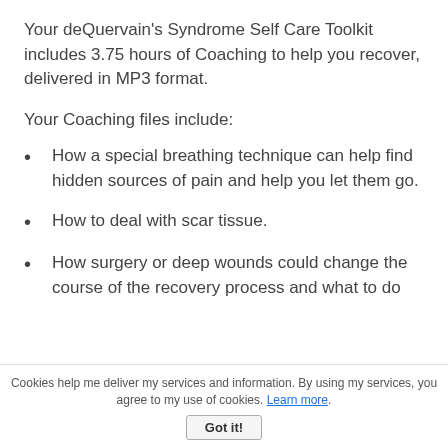Your deQuervain's Syndrome Self Care Toolkit includes 3.75 hours of Coaching to help you recover, delivered in MP3 format.
Your Coaching files include:
How a special breathing technique can help find hidden sources of pain and help you let them go.
How to deal with scar tissue.
How surgery or deep wounds could change the course of the recovery process and what to do
Cookies help me deliver my services and information. By using my services, you agree to my use of cookies. Learn more. Got it!